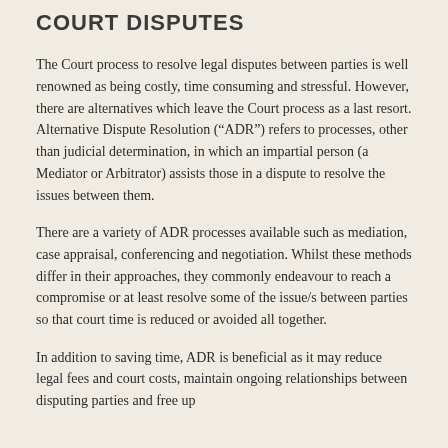COURT DISPUTES
The Court process to resolve legal disputes between parties is well renowned as being costly, time consuming and stressful. However, there are alternatives which leave the Court process as a last resort. Alternative Dispute Resolution (“ADR”) refers to processes, other than judicial determination, in which an impartial person (a Mediator or Arbitrator) assists those in a dispute to resolve the issues between them.
There are a variety of ADR processes available such as mediation, case appraisal, conferencing and negotiation. Whilst these methods differ in their approaches, they commonly endeavour to reach a compromise or at least resolve some of the issue/s between parties so that court time is reduced or avoided all together.
In addition to saving time, ADR is beneficial as it may reduce legal fees and court costs, maintain ongoing relationships between disputing parties and free up